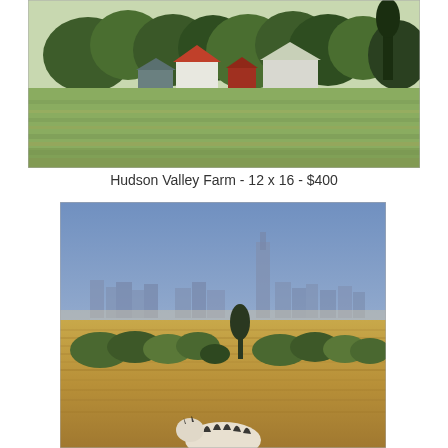[Figure (illustration): Watercolor painting of a Hudson Valley farm scene with white farmhouses with red roofs, surrounded by green trees and an open grassy field in the foreground.]
Hudson Valley Farm - 12 x 16 - $400
[Figure (illustration): Watercolor painting of an African savanna scene with a city skyline in the misty background, golden grasslands, a row of trees in the middle ground, and the top of a zebra visible in the foreground.]